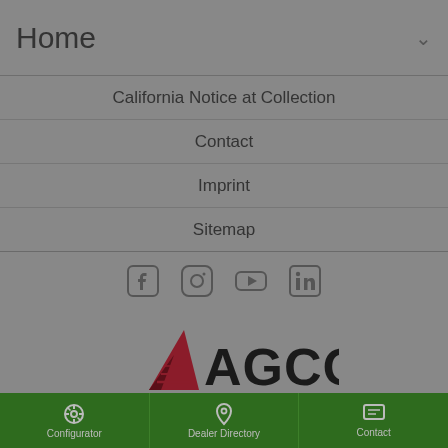Home
California Notice at Collection
Contact
Imprint
Sitemap
[Figure (infographic): Social media icons: Facebook, Instagram, YouTube, LinkedIn]
[Figure (logo): AGCO logo with triangle and text 'Your Agriculture Company']
Fendt® is a worldwide brand of AGCO. © 2022 AGCO GmbH. All rights
Configurator | Dealer Directory | Contact